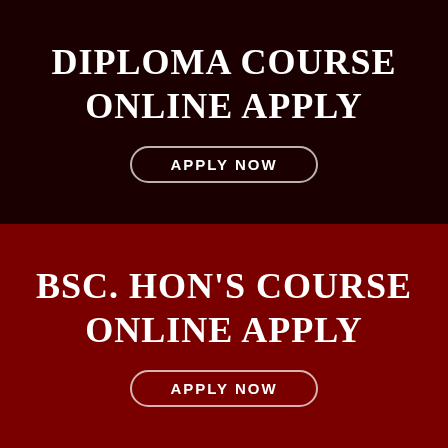DIPLOMA COURSE ONLINE APPLY
APPLY NOW
BSC. HON'S COURSE ONLINE APPLY
APPLY NOW